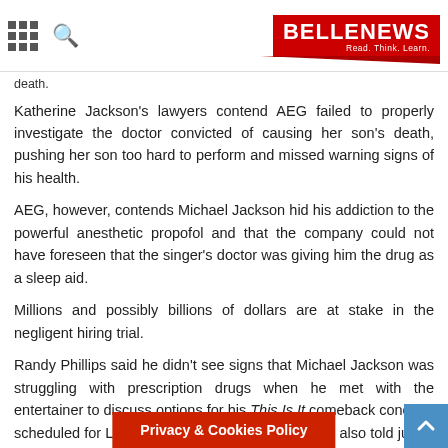BELLENEWS — Read. Think. Learn.
death.
Katherine Jackson's lawyers contend AEG failed to properly investigate the doctor convicted of causing her son's death, pushing her son too hard to perform and missed warning signs of his health.
AEG, however, contends Michael Jackson hid his addiction to the powerful anesthetic propofol and that the company could not have foreseen that the singer's doctor was giving him the drug as a sleep aid.
Millions and possibly billions of dollars are at stake in the negligent hiring trial.
Randy Phillips said he didn't see signs that Michael Jackson was struggling with prescription drugs when he met with the entertainer to discuss options for his This Is It comeback concerts scheduled for London's O2 Arena in 2009. He has also told jurors that Michael Jackson never told him he was